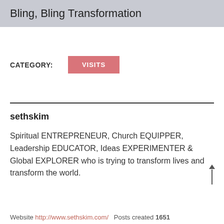Bling, Bling Transformation
CATEGORY:   VISITS
sethskim
Spiritual ENTREPRENEUR, Church EQUIPPER, Leadership EDUCATOR, Ideas EXPERIMENTER & Global EXPLORER who is trying to transform lives and transform the world.
Website http://www.sethskim.com/   Posts created 1651